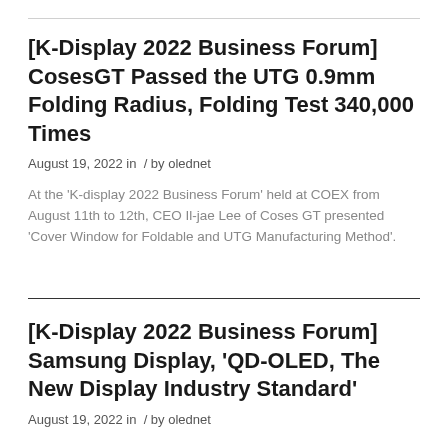[K-Display 2022 Business Forum] CosesGT Passed the UTG 0.9mm Folding Radius, Folding Test 340,000 Times
August 19, 2022 in  / by olednet
At the 'K-display 2022 Business Forum' held at COEX from August 11th to 12th, CEO Il-jae Lee of Coses GT presented 'Cover Window for Foldable and UTG Manufacturing Method'.
[K-Display 2022 Business Forum] Samsung Display, 'QD-OLED, The New Display Industry Standard'
August 19, 2022 in  / by olednet